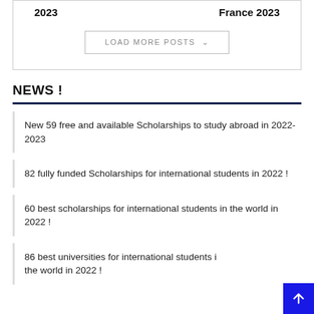2023
France 2023
LOAD MORE POSTS
NEWS !
New 59 free and available Scholarships to study abroad in 2022-2023
82 fully funded Scholarships for international students in 2022 !
60 best scholarships for international students in the world in 2022 !
86 best universities for international students in the world in 2022 !